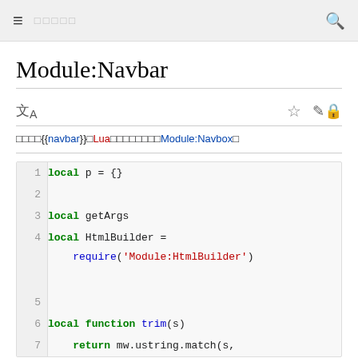≡ □□□□□  🔍
Module:Navbar
□□□□{{navbar}}□Lua□□□□□□□□Module:Navbox□
[Figure (screenshot): Code block showing Lua source code for Module:Navbar. Lines 1-7 visible. Line 1: local p = {}  Line 2: (empty)  Line 3: local getArgs  Line 4: local HtmlBuilder =  (continued) require('Module:HtmlBuilder')  Line 5: (empty)  Line 6: local function trim(s)  Line 7:     return mw.ustring.match(s,]